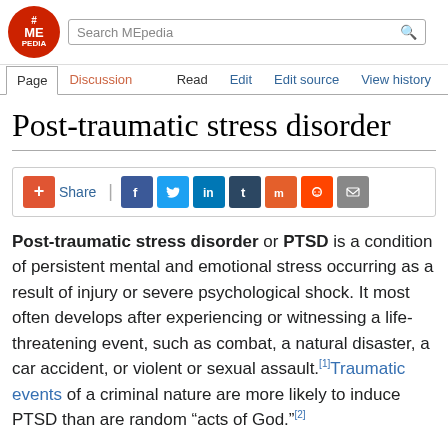MEpedia | Search MEpedia | Page | Discussion | Read | Edit | Edit source | View history
Post-traumatic stress disorder
[Figure (infographic): Social share bar with buttons for Facebook, Twitter, LinkedIn, Tumblr, Mix, Reddit, and email]
Post-traumatic stress disorder or PTSD is a condition of persistent mental and emotional stress occurring as a result of injury or severe psychological shock. It most often develops after experiencing or witnessing a life-threatening event, such as combat, a natural disaster, a car accident, or violent or sexual assault.[1]Traumatic events of a criminal nature are more likely to induce PTSD than are random “acts of God.”[2]